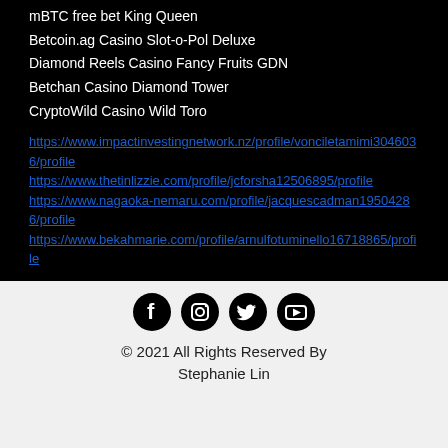mBTC free bet King Queen
Betcoin.ag Casino Slot-o-Pol Deluxe
Diamond Reels Casino Fancy Fruits GDN
Betchan Casino Diamond Tower
CryptoWild Casino Wild Toro
https://www.impactinvestingnetwork.nz/profile/vonciletamimi3046036/profile https://www.thetinlizzie.com/profile/jcforsha12506895/profile https://www.nagaoka-nemaru.com/profile/jacquescadman19504286/profile https://www.bekahmarie.com/profile/arnulfotuminello16718865/profile
[Figure (infographic): Four social media icons: Facebook, Instagram, Twitter, YouTube — black circles with white icons]
© 2021 All Rights Reserved By Stephanie Lin